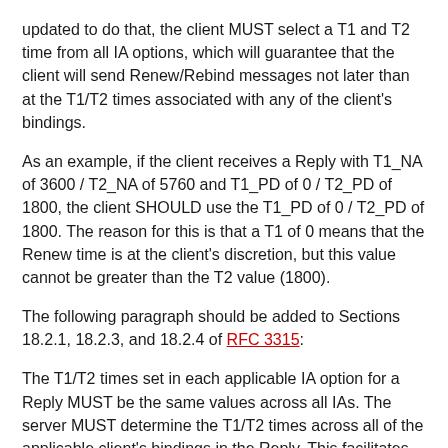updated to do that, the client MUST select a T1 and T2 time from all IA options, which will guarantee that the client will send Renew/Rebind messages not later than at the T1/T2 times associated with any of the client's bindings.
As an example, if the client receives a Reply with T1_NA of 3600 / T2_NA of 5760 and T1_PD of 0 / T2_PD of 1800, the client SHOULD use the T1_PD of 0 / T2_PD of 1800. The reason for this is that a T1 of 0 means that the Renew time is at the client's discretion, but this value cannot be greater than the T2 value (1800).
The following paragraph should be added to Sections 18.2.1, 18.2.3, and 18.2.4 of RFC 3315:
The T1/T2 times set in each applicable IA option for a Reply MUST be the same values across all IAs. The server MUST determine the T1/T2 times across all of the applicable client's bindings in the Reply. This facilitates the client being able to renew all of the bindings at the same time.